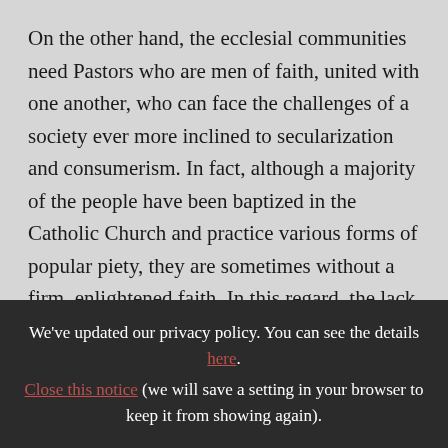On the other hand, the ecclesial communities need Pastors who are men of faith, united with one another, who can face the challenges of a society ever more inclined to secularization and consumerism. In fact, although a majority of the people have been baptized in the Catholic Church and practice various forms of popular piety, they are sometimes without a firm, enlightened faith. In this regard, the lack of an existential and ecclesial backbone for
We've updated our privacy policy. You can see the details here. Close this notice (we will save a setting in your browser to keep it from showing again).